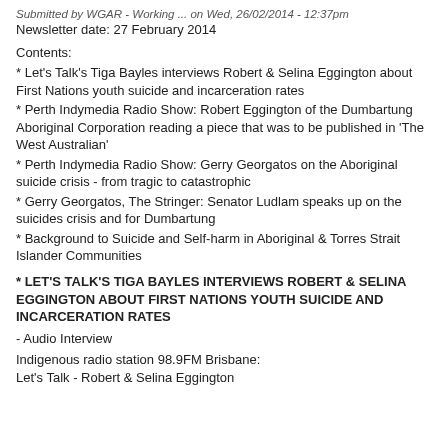Submitted by WGAR - Working ... on Wed, 26/02/2014 - 12:37pm
Newsletter date: 27 February 2014
Contents:
* Let's Talk's Tiga Bayles interviews Robert & Selina Eggington about First Nations youth suicide and incarceration rates
* Perth Indymedia Radio Show: Robert Eggington of the Dumbartung Aboriginal Corporation reading a piece that was to be published in 'The West Australian'
* Perth Indymedia Radio Show: Gerry Georgatos on the Aboriginal suicide crisis - from tragic to catastrophic
* Gerry Georgatos, The Stringer: Senator Ludlam speaks up on the suicides crisis and for Dumbartung
* Background to Suicide and Self-harm in Aboriginal & Torres Strait Islander Communities
* LET'S TALK'S TIGA BAYLES INTERVIEWS ROBERT & SELINA EGGINGTON ABOUT FIRST NATIONS YOUTH SUICIDE AND INCARCERATION RATES
- Audio Interview
Indigenous radio station 98.9FM Brisbane:
Let's Talk - Robert & Selina Eggington